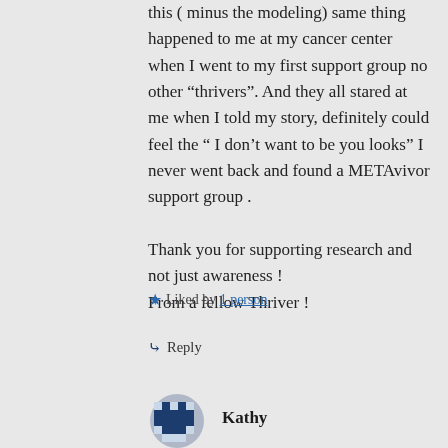this ( minus the modeling) same thing happened to me at my cancer center when I went to my first support group no other “thrivers”. And they all stared at me when I told my story, definitely could feel the “ I don’t want to be you looks” I never went back and found a METAvivor support group .

Thank you for supporting research and not just awareness !
From a fellow Thriver !
Liked by 1 person
Reply
Kathy